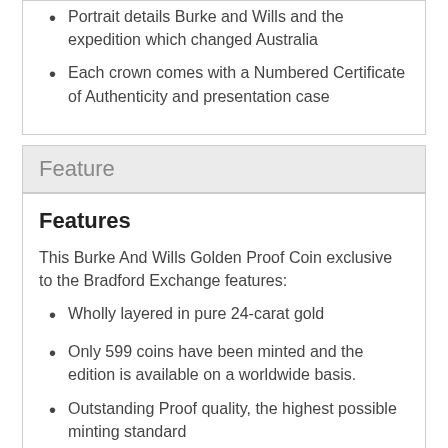Portrait details Burke and Wills and the expedition which changed Australia
Each crown comes with a Numbered Certificate of Authenticity and presentation case
Feature
Features
This Burke And Wills Golden Proof Coin exclusive to the Bradford Exchange features:
Wholly layered in pure 24-carat gold
Only 599 coins have been minted and the edition is available on a worldwide basis.
Outstanding Proof quality, the highest possible minting standard
The coin has been approved for minting by Her Majesty Queen Elizabeth II